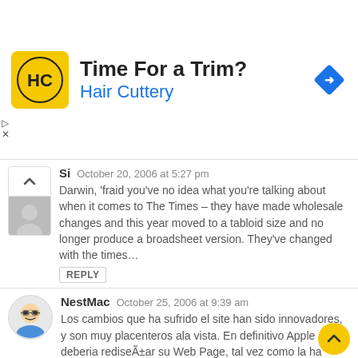[Figure (infographic): Hair Cuttery advertisement banner with logo, title 'Time For a Trim?', and a blue navigation arrow icon]
Si   October 20, 2006 at 5:27 pm
Darwin, 'fraid you've no idea what you're talking about when it comes to The Times – they have made wholesale changes and this year moved to a tabloid size and no longer produce a broadsheet version. They've changed with the times…
REPLY
NestMac   October 25, 2006 at 9:39 am
Los cambios que ha sufrido el site han sido innovadores, y son muy placenteros ala vista. En definitivo Apple deberia rediseÃ±ar su Web Page, tal vez como la ha hecho hasta ahora, de poco en poco. No me sorprenderia que con el release de Leopard para el 2007, la compaÃ±ia decidiera hacerles unos ajustes al la pagina.
REPLY